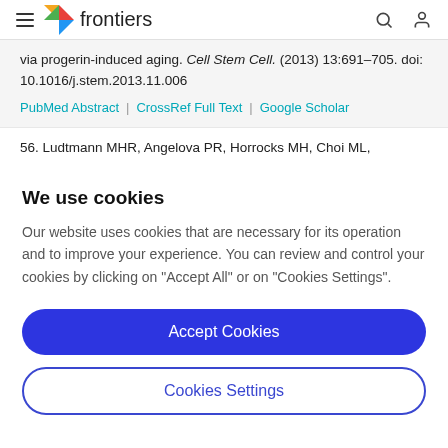frontiers
via progerin-induced aging. Cell Stem Cell. (2013) 13:691–705. doi: 10.1016/j.stem.2013.11.006
PubMed Abstract | CrossRef Full Text | Google Scholar
56. Ludtmann MHR, Angelova PR, Horrocks MH, Choi ML,
We use cookies
Our website uses cookies that are necessary for its operation and to improve your experience. You can review and control your cookies by clicking on "Accept All" or on "Cookies Settings".
Accept Cookies
Cookies Settings